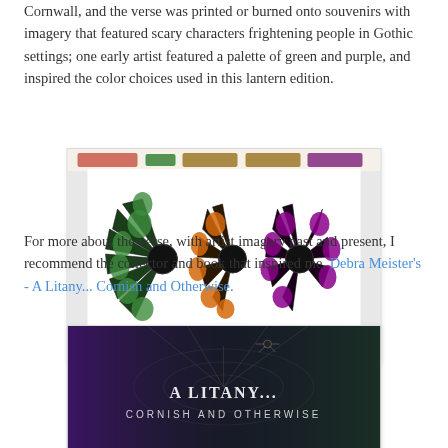Cornwall, and the verse was printed or burned onto souvenirs with imagery that featured scary characters frightening people in Gothic settings; one early artist featured a palette of green and purple, and inspired the color choices used in this lantern edition.
[Figure (photo): Photograph of Halloween lantern panels arranged in a fan/starburst pattern, showing three color groups: green, orange, and purple designs with Gothic imagery on black backgrounds, packaged in clear plastic bags with header cards.]
For more about the verse, with artist imagery past and present, I recommend the collector and book that inspired me, Debra Meister's - A Litany... Cornish and Otherwise.
[Figure (photo): Photograph of a book cover titled 'A Litany... Cornish and Otherwise' with a dark background featuring spider webs and green/purple tones.]